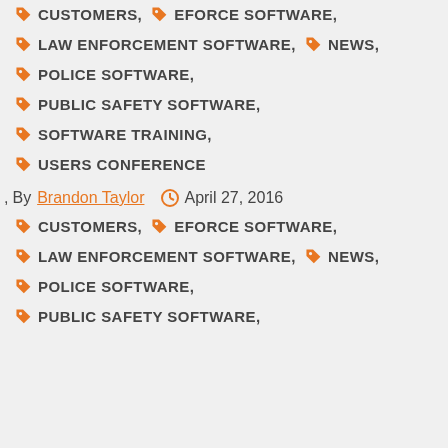CUSTOMERS, EFORCE SOFTWARE,
LAW ENFORCEMENT SOFTWARE, NEWS,
POLICE SOFTWARE,
PUBLIC SAFETY SOFTWARE,
SOFTWARE TRAINING,
USERS CONFERENCE
, By Brandon Taylor  April 27, 2016
CUSTOMERS, EFORCE SOFTWARE,
LAW ENFORCEMENT SOFTWARE, NEWS,
POLICE SOFTWARE,
PUBLIC SAFETY SOFTWARE,